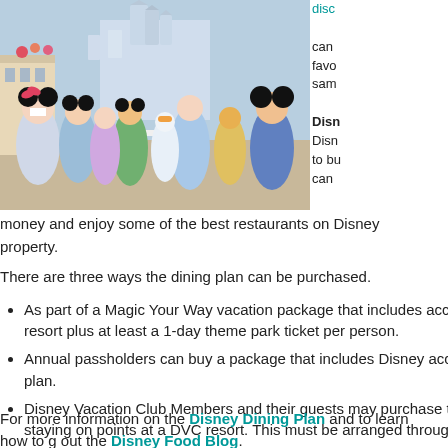[Figure (photo): Disney characters including Mickey Mouse, Minnie Mouse, Goofy, Donald Duck, Daisy Duck, Cinderella and other costumed characters posed together on Main Street USA in front of Cinderella Castle at Walt Disney World, gathered around a white table.]
disc
can favo sam
Disn
Disn to bu can
money and enjoy some of the best restaurants on Disney property.
There are three ways the dining plan can be purchased.
As part of a Magic Your Way vacation package that includes acco resort plus at least a 1-day theme park ticket per person.
Annual passholders can buy a package that includes Disney acco plan.
Disney Vacation Club Members and their guests may purchase t staying on points at a DVC resort. This must be arranged throug
For more information on the Disney Dining Plan and to learn how to g out the Disney Food Blog.